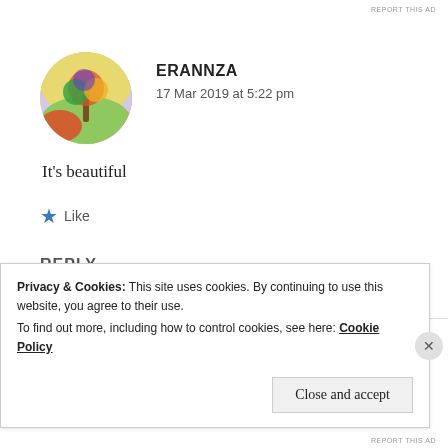REPORT THIS AD
[Figure (illustration): Circular avatar image showing a painted tree with colorful foliage against a landscape background]
ERANNZA
17 Mar 2019 at 5:22 pm
It's beautiful
★ Like
REPLY
Privacy & Cookies: This site uses cookies. By continuing to use this website, you agree to their use.
To find out more, including how to control cookies, see here: Cookie Policy
Close and accept
REPORT THIS AD